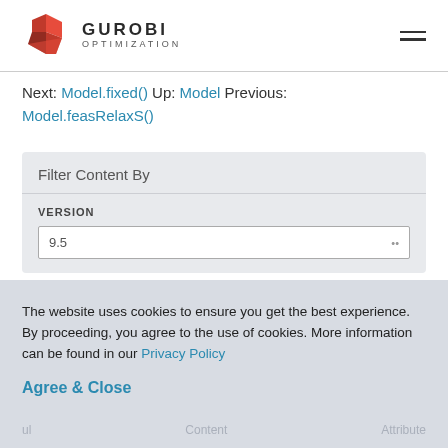Gurobi Optimization
Next: Model.fixed() Up: Model Previous: Model.feasRelaxS()
Filter Content By
VERSION
9.5
The website uses cookies to ensure you get the best experience. By proceeding, you agree to the use of cookies. More information can be found in our Privacy Policy
Agree & Close